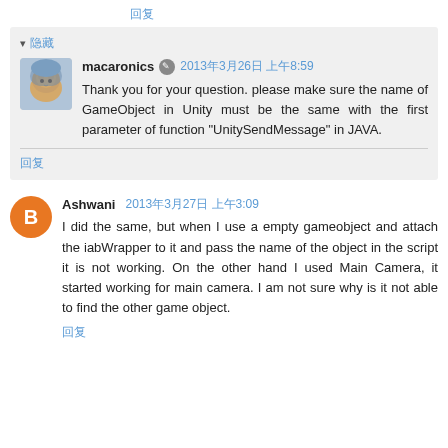回复
▾ 隐藏
macaronics  2013年3月26日 上午8:59
Thank you for your question. please make sure the name of GameObject in Unity must be the same with the first parameter of function "UnitySendMessage" in JAVA.
回复
Ashwani  2013年3月27日 上午3:09
I did the same, but when I use a empty gameobject and attach the iabWrapper to it and pass the name of the object in the script it is not working. On the other hand I used Main Camera, it started working for main camera. I am not sure why is it not able to find the other game object.
回复